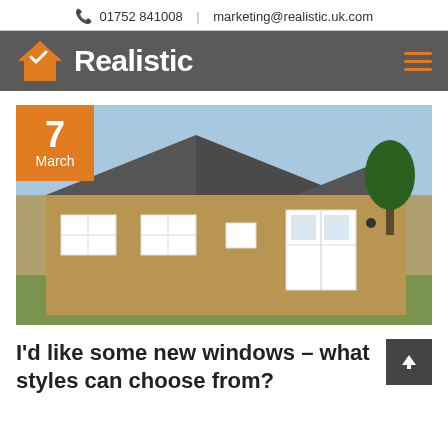📞 01752 841008  |  marketing@realistic.uk.com
[Figure (logo): Realistic company logo with orange house icon and white bold text 'Realistic' on dark grey navigation bar]
[Figure (photo): Exterior photo of a stone cottage house with white-framed windows and an orange date badge showing '7 March' in the top-left corner]
I'd like some new windows – what styles can choose from?